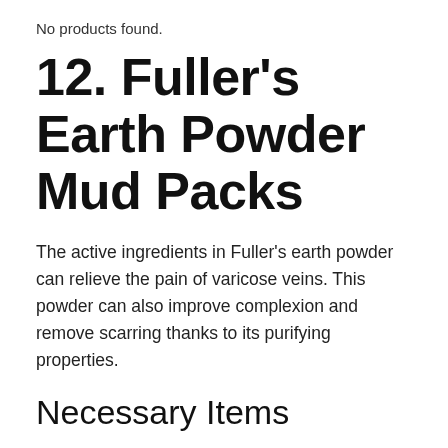No products found.
12. Fuller's Earth Powder Mud Packs
The active ingredients in Fuller's earth powder can relieve the pain of varicose veins. This powder can also improve complexion and remove scarring thanks to its purifying properties.
Necessary Items
Directions
Mix the powder with water until you get a